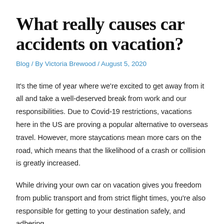What really causes car accidents on vacation?
Blog / By Victoria Brewood / August 5, 2020
It's the time of year where we're excited to get away from it all and take a well-deserved break from work and our responsibilities. Due to Covid-19 restrictions, vacations here in the US are proving a popular alternative to overseas travel. However, more staycations mean more cars on the road, which means that the likelihood of a crash or collision is greatly increased.
While driving your own car on vacation gives you freedom from public transport and from strict flight times, you're also responsible for getting to your destination safely, and adhering